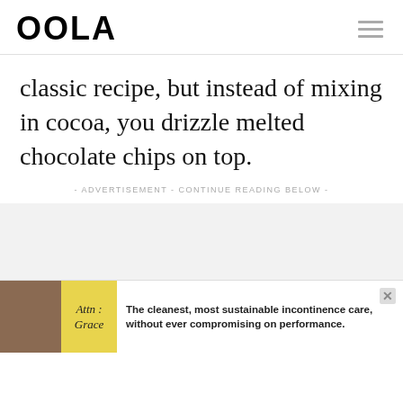OOLA
classic recipe, but instead of mixing in cocoa, you drizzle melted chocolate chips on top.
- ADVERTISEMENT - CONTINUE READING BELOW -
[Figure (other): Advertisement banner: Attn: Grace product ad with person image and yellow label. Text reads: The cleanest, most sustainable incontinence care, without ever compromising on performance.]